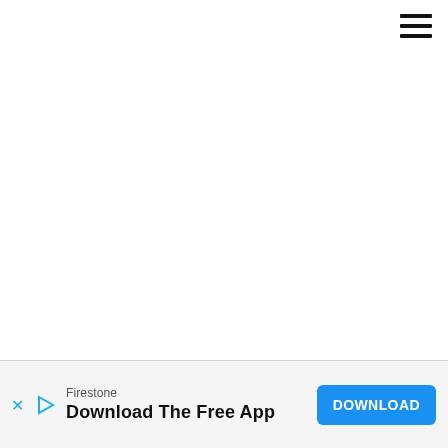[Figure (other): Hamburger menu icon (three horizontal bars) in the top-right corner]
[Figure (infographic): Advertisement banner at the bottom of the page for Firestone app download. Contains brand name 'Firestone', headline 'Download The Free App', a blue 'DOWNLOAD' button, and close/mute icons on the left.]